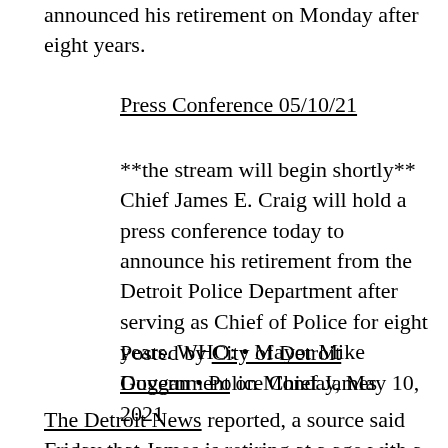announced his retirement on Monday after eight years.
Press Conference 05/10/21
**the stream will begin shortly** Chief James E. Craig will hold a press conference today to announce his retirement from the Detroit Police Department after serving as Chief of Police for eight years. WHO: • Mayor Mike Duggan • Police Chief James
Posted by City of Detroit Government on Monday, May 10, 2021
The Detroit News reported, a source said Friday that James is retiring at a age with a reason for